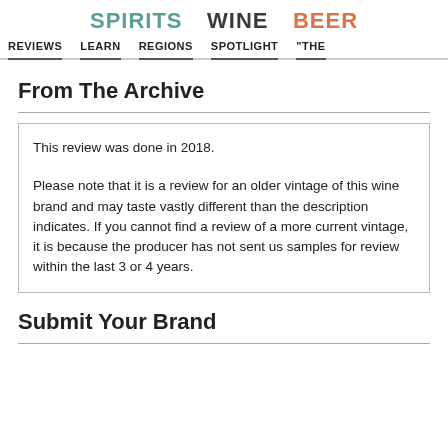SPIRITS   WINE   BEER
REVIEWS   LEARN   REGIONS   SPOTLIGHT   "THE
From The Archive
This review was done in 2018.

Please note that it is a review for an older vintage of this wine brand and may taste vastly different than the description indicates. If you cannot find a review of a more current vintage, it is because the producer has not sent us samples for review within the last 3 or 4 years.
Submit Your Brand